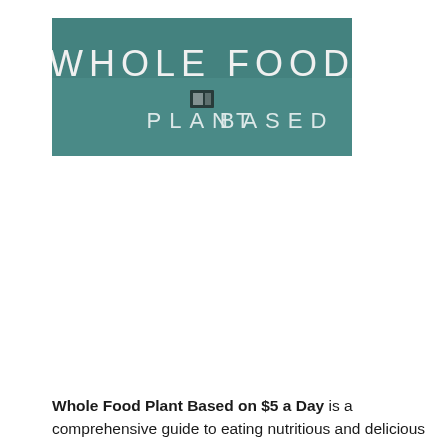[Figure (illustration): Book cover showing 'WHOLE FOOD PLANT BASED' text on a teal/green background with partial view of the cover]
Whole Food Plant Based on $5 a Day is a comprehensive guide to eating nutritious and delicious